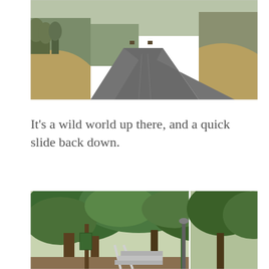[Figure (photo): Outdoor road or path scene with dry grassy hillsides, trees in the background, and a paved road diverging into two directions under a clear sky.]
It's a wild world up there, and a quick slide back down.
[Figure (photo): Park stairway entrance surrounded by large green trees with thick foliage. A green railing and lamp post are visible, with steps leading downward.]